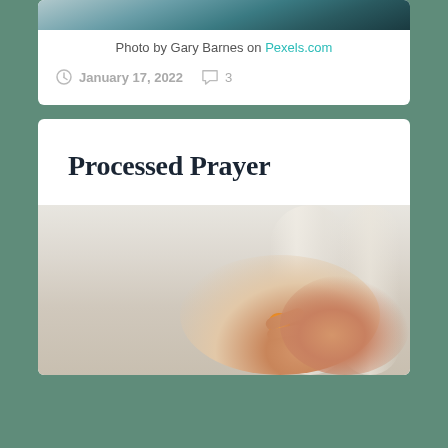[Figure (photo): Top portion of a photo strip showing people, partially visible at the top of the page]
Photo by Gary Barnes on Pexels.com
January 17, 2022   3
Processed Prayer
[Figure (photo): A person lying down appearing to take medicine or eat something orange, photographed from above with soft light background]